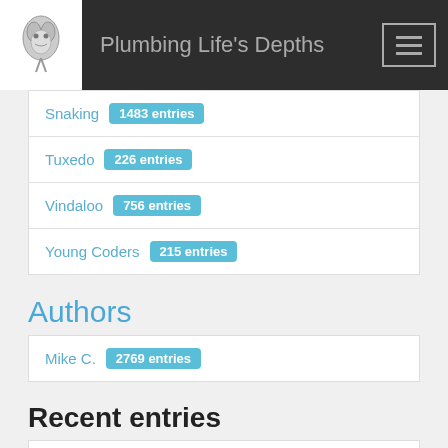Plumbing Life's Depths
Snaking  1483 entries
Tuxedo  226 entries
Vindaloo  756 entries
Young Coders  215 entries
Authors
Mike C.  2769 entries
Recent entries
What's with the bot fodder on planet python?
Go Lang Impressions after 2 Months